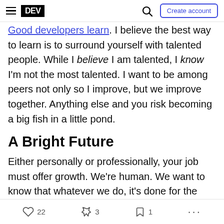DEV | Search | Create account
Good developers learn. I believe the best way to learn is to surround yourself with talented people. While I believe I am talented, I know I'm not the most talented. I want to be among peers not only so I improve, but we improve together. Anything else and you risk becoming a big fish in a little pond.
A Bright Future
Either personally or professionally, your job must offer growth. We're human. We want to know that whatever we do, it's done for the better. If your job isn't going somewhere, you should go somewhere else.
22 reactions | 3 unicorn | 1 bookmark